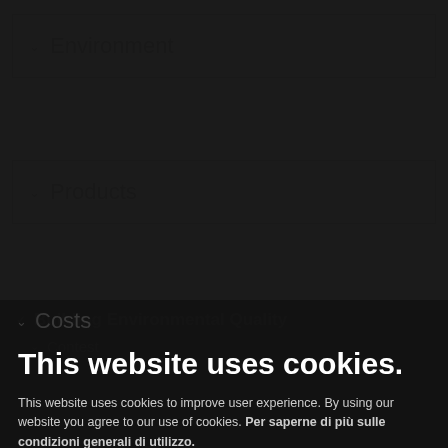Environment
Products
This website uses cookies.
This website uses cookies to improve user experience. By using our website you agree to our use of cookies. Per saperne di più sulle condizioni generali di utilizzo.
Building Environmental Quality
Accetto
Contest
Mostra usi